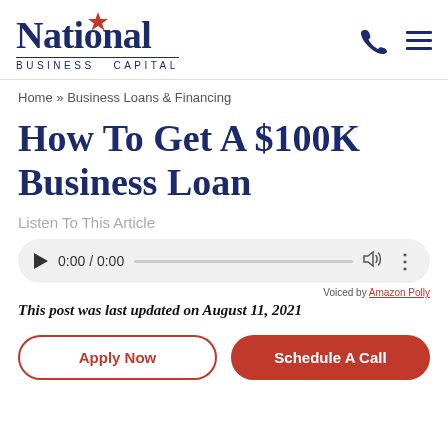[Figure (logo): National Business Capital logo with stylized star and phone/menu icons in navy blue]
Home » Business Loans & Financing
How To Get A $100K Business Loan
Listen To This Article
[Figure (other): Audio player widget showing 0:00 / 0:00 with play button, progress bar, volume and menu icons]
Voiced by Amazon Polly
This post was last updated on August 11, 2021
Apply Now
Schedule A Call